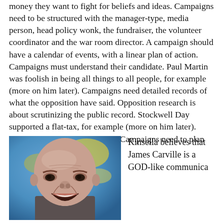money they want to fight for beliefs and ideas. Campaigns need to be structured with the manager-type, media person, head policy wonk, the fundraiser, the volunteer coordinator and the war room director. A campaign should have a calendar of events, with a linear plan of action. Campaigns must understand their candidate. Paul Martin was foolish in being all things to all people, for example (more on him later). Campaigns need detailed records of what the opposition have said. Opposition research is about scrutinizing the public record. Stockwell Day supported a flat-tax, for example (more on him later). Campaigns need The Message. Campaigns need to plan for contingencies.
[Figure (photo): A bald man laughing or grimacing expressively, photographed against a blurred blue and yellow background resembling a world map.]
Kinsella believes that James Carville is a GOD-like communica